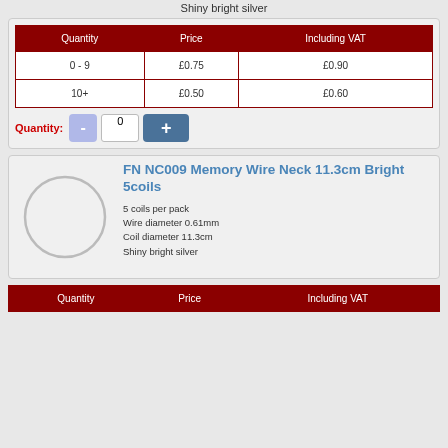Shiny bright silver
| Quantity | Price | Including VAT |
| --- | --- | --- |
| 0 - 9 | £0.75 | £0.90 |
| 10+ | £0.50 | £0.60 |
Quantity: - 0 +
FN NC009 Memory Wire Neck 11.3cm Bright 5coils
[Figure (illustration): Circular memory wire coil shown as a circle outline, shiny bright silver]
5 coils per pack
Wire diameter 0.61mm
Coil diameter 11.3cm
Shiny bright silver
| Quantity | Price | Including VAT |
| --- | --- | --- |